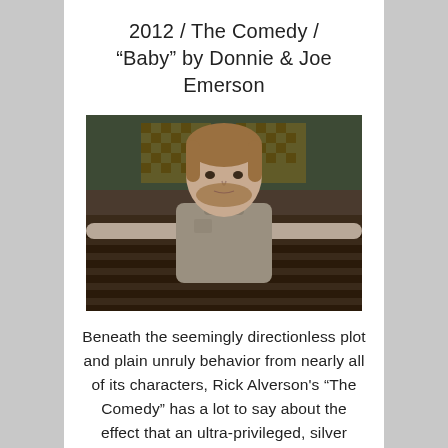2012 / The Comedy / "Baby" by Donnie & Joe Emerson
[Figure (photo): A man with medium-length hair and a beard sits in what appears to be a church pew, wearing a grey polo shirt, arms stretched out along the back of the pew, looking directly at the camera. The background shows wooden pews and decorative elements of a church interior.]
Beneath the seemingly directionless plot and plain unruly behavior from nearly all of its characters, Rick Alverson's "The Comedy" has a lot to say about the effect that an ultra-privileged, silver spoon